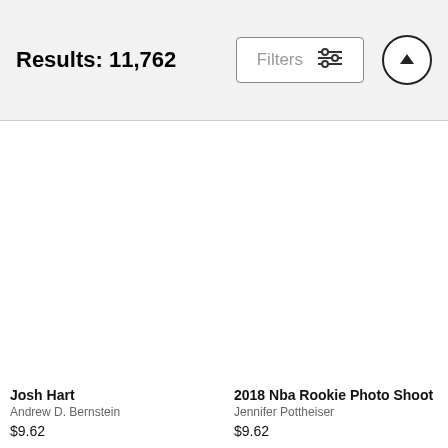Results: 11,762
Filters
[Figure (screenshot): UI filter/sort icon button with sliders icon]
[Figure (screenshot): Upward arrow icon button in a circle]
[Figure (photo): Photo thumbnail placeholder for Josh Hart]
Josh Hart
Andrew D. Bernstein
$9.62
[Figure (photo): Photo thumbnail placeholder for 2018 Nba Rookie Photo Shoot]
2018 Nba Rookie Photo Shoot
Jennifer Pottheiser
$9.62